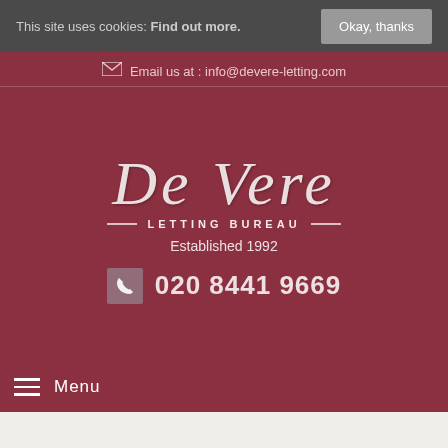This site uses cookies: Find out more.
Okay, thanks
Email us at : info@devere-letting.com
[Figure (logo): De Vere Letting Bureau script logo in white italic text on dark red background]
LETTING BUREAU
Established 1992
020 8441 9669
Menu